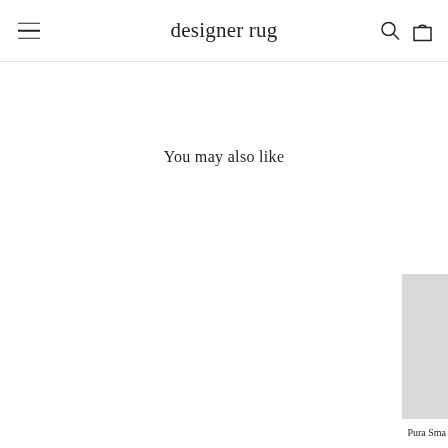designer rug
You may also like
Pura Sma